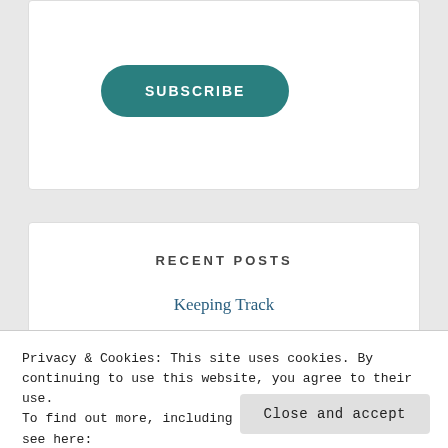SUBSCRIBE
RECENT POSTS
Keeping Track
Monday Motivation: A Carefree Summer
Wednesday WIP: Sampler Spree Week 5
Friday Finish: Cha Cha Cha Runner Plus French
Privacy & Cookies: This site uses cookies. By continuing to use this website, you agree to their use.
To find out more, including how to control cookies, see here: Cookie Policy
Close and accept